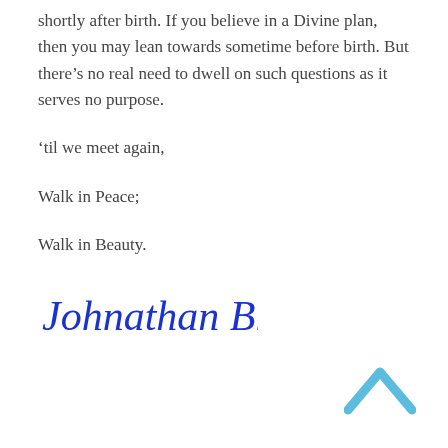shortly after birth. If you believe in a Divine plan, then you may lean towards sometime before birth. But there’s no real need to dwell on such questions as it serves no purpose.
‘til we meet again,
Walk in Peace;
Walk in Beauty.
[Figure (illustration): Handwritten cursive signature reading 'Johnathan Brooks' in blue ink]
[Figure (illustration): Light blue upward-pointing chevron/caret arrow icon in the bottom-right corner]